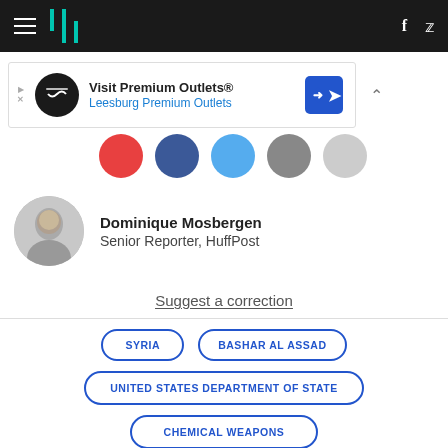HuffPost navigation bar with hamburger menu, logo, Facebook and Twitter icons
[Figure (screenshot): Advertisement banner for Visit Premium Outlets® – Leesburg Premium Outlets with logo and direction icon]
[Figure (infographic): Social share buttons row: red, blue, light-blue, grey, light-grey circles]
Dominique Mosbergen
Senior Reporter, HuffPost
Suggest a correction
SYRIA
BASHAR AL ASSAD
UNITED STATES DEPARTMENT OF STATE
CHEMICAL WEAPONS